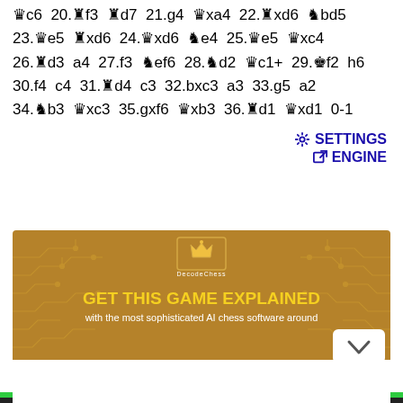c6 20.Rf3 Rd7 21.g4 Qxa4 22.Rxd6 Nbd5 23.Qe5 Rxd6 24.Qxd6 Ne4 25.Qe5 Qxc4 26.Rd3 a4 27.f3 Nef6 28.Nd2 Qc1+ 29.Kf2 h6 30.f4 c4 31.Rd4 c3 32.bxc3 a3 33.g5 a2 34.Nb3 Qxc3 35.gxf6 Qxb3 36.Rd1 Qxd1 0-1
[Figure (screenshot): DecodeChess banner advertisement: brown background with circuit board pattern, chess crown logo, text 'GET THIS GAME EXPLAINED with the most sophisticated AI chess software around', white chevron button bottom right, white area at bottom]